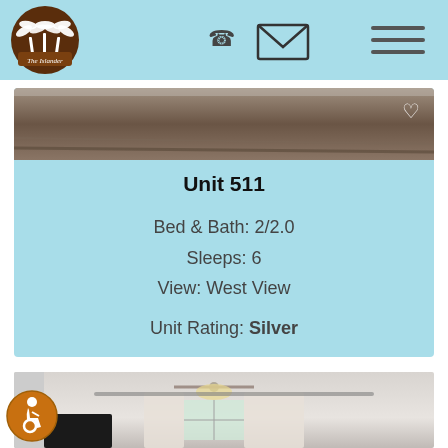[Figure (logo): The Islander logo: brown circle with white palm trees and text 'The Islander']
[Figure (screenshot): Navigation header with phone icon, envelope/email icon, and hamburger menu icon on light blue background]
[Figure (photo): Top portion of a room photo, partially cropped, showing bedding and ceiling]
Unit 511
Bed & Bath: 2/2.0
Sleeps: 6
View: West View
Unit Rating: Silver
[Figure (photo): Interior room photo showing ceiling fan, window with curtains, and curtain track]
[Figure (illustration): Accessibility icon: orange circle with wheelchair user symbol]